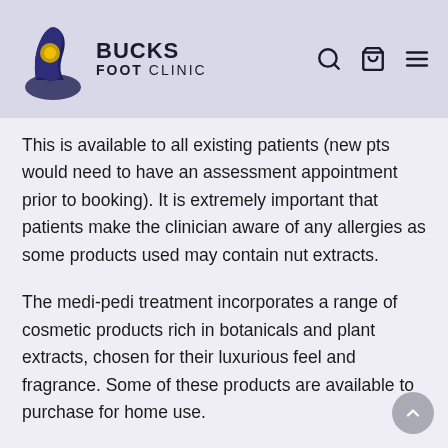Bucks Foot Clinic
This is available to all existing patients (new pts would need to have an assessment appointment prior to booking). It is extremely important that patients make the clinician aware of any allergies as some products used may contain nut extracts.
The medi-pedi treatment incorporates a range of cosmetic products rich in botanicals and plant extracts, chosen for their luxurious feel and fragrance. Some of these products are available to purchase for home use.